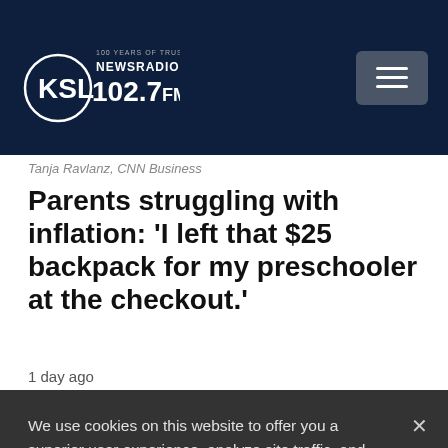KSL NewsRadio 102.7FM
Tanja Ravlanz, CNN Business
Parents struggling with inflation: 'I left that $25 backpack for my preschooler at the checkout.'
1 day ago
We use cookies on this website to offer you a superior user experience, analyze site traffic, and personalize content and advertisements. By continuing to use our site, you consent to our use of cookies. Please visit our Privacy Policy for more information.
Accept Cookies